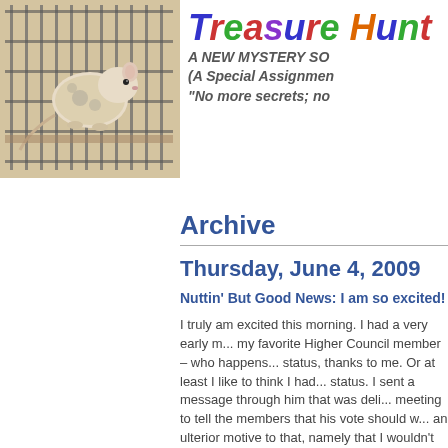[Figure (photo): Photo of a small animal (likely a rat or small pet) inside a wire cage, beige/tan coloring]
Treasure Hunt
A NEW MYSTERY SO
(A Special Assignmen
"No more secrets; no
Archive
Thursday, June 4, 2009
Nuttin' But Good News: I am so excited!
I truly am excited this morning. I had a very early m... my favorite Higher Council member – who happens... status, thanks to me. Or at least I like to think I had... status. I sent a message through him that was deli... meeting to tell the members that his vote should w... an ulterior motive to that, namely that I wouldn't be... mundane assignments or would at least be allowed... they better match what I want to be doing on this e... are working on. I'm not sure they give him 51% like... they are listening better.
So my latest news is that I can go ahead and relea... have had since the roses started blooming. Remer... when I wrote the Treasure Hunting: Where Are We... mentioned that my long lost friend had predicted I w...